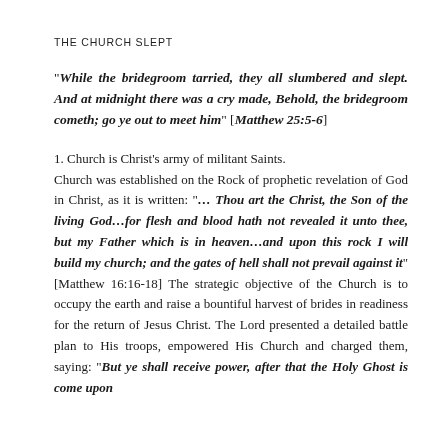THE CHURCH SLEPT
“While the bridegroom tarried, they all slumbered and slept. And at midnight there was a cry made, Behold, the bridegroom cometh; go ye out to meet him” [Matthew 25:5-6]
1. Church is Christ’s army of militant Saints.
Church was established on the Rock of prophetic revelation of God in Christ, as it is written: “… Thou art the Christ, the Son of the living God…for flesh and blood hath not revealed it unto thee, but my Father which is in heaven…and upon this rock I will build my church; and the gates of hell shall not prevail against it” [Matthew 16:16-18] The strategic objective of the Church is to occupy the earth and raise a bountiful harvest of brides in readiness for the return of Jesus Christ. The Lord presented a detailed battle plan to His troops, empowered His Church and charged them, saying: “But ye shall receive power, after that the Holy Ghost is come upon